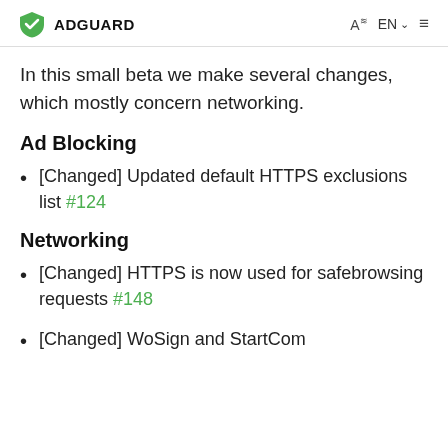ADGUARD
In this small beta we make several changes, which mostly concern networking.
Ad Blocking
[Changed] Updated default HTTPS exclusions list #124
Networking
[Changed] HTTPS is now used for safebrowsing requests #148
[Changed] WoSign and StartCom